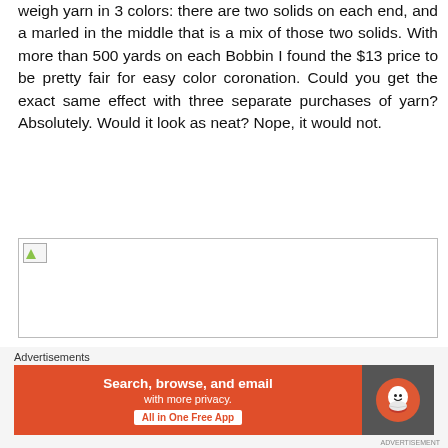weigh yarn in 3 colors: there are two solids on each end, and a marled in the middle that is a mix of those two solids. With more than 500 yards on each Bobbin I found the $13 price to be pretty fair for easy color coronation. Could you get the exact same effect with three separate purchases of yarn? Absolutely. Would it look as neat? Nope, it would not.
[Figure (photo): Broken image placeholder with small icon in top-left corner]
Advertisements
[Figure (other): DuckDuckGo advertisement banner: orange left panel with text 'Search, browse, and email with more privacy. All in One Free App', dark right panel with DuckDuckGo duck logo]